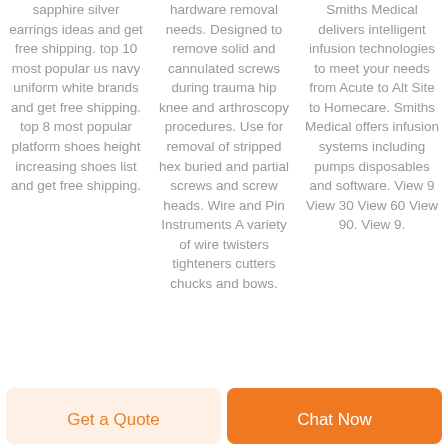sapphire silver earrings ideas and get free shipping. top 10 most popular us navy uniform white brands and get free shipping. top 8 most popular platform shoes height increasing shoes list and get free shipping.
hardware removal needs. Designed to remove solid and cannulated screws during trauma hip knee and arthroscopy procedures. Use for removal of stripped hex buried and partial screws and screw heads. Wire and Pin Instruments A variety of wire twisters tighteners cutters chucks and bows.
Smiths Medical delivers intelligent infusion technologies to meet your needs from Acute to Alt Site to Homecare. Smiths Medical offers infusion systems including pumps disposables and software. View 9 View 30 View 60 View 90. View 9.
Get a Quote
Chat Now